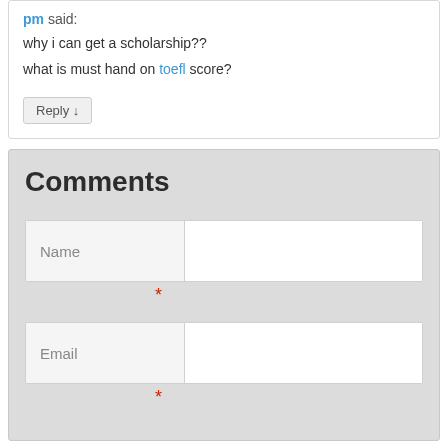pm said:
why i can get a scholarship??
what is must hand on toefl score?
Reply ↓
Comments
Name
*
Email
*